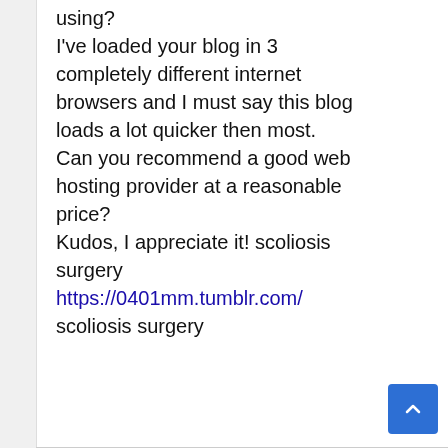using? I've loaded your blog in 3 completely different internet browsers and I must say this blog loads a lot quicker then most. Can you recommend a good web hosting provider at a reasonable price? Kudos, I appreciate it! scoliosis surgery https://0401mm.tumblr.com/ scoliosis surgery